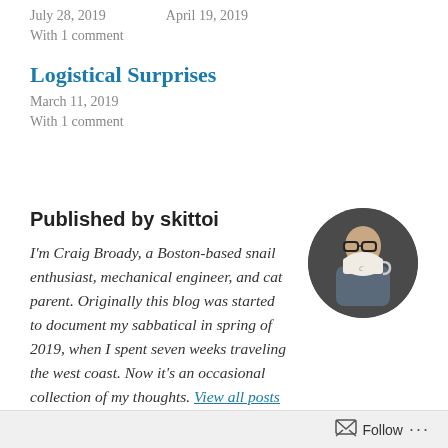July 28, 2019    April 19, 2019
With 1 comment
Logistical Surprises
March 11, 2019
With 1 comment
Published by skittoi
I'm Craig Broady, a Boston-based snail enthusiast, mechanical engineer, and cat parent. Originally this blog was started to document my sabbatical in spring of 2019, when I spent seven weeks traveling the west coast. Now it's an occasional collection of my thoughts. View all posts by skittoi
[Figure (photo): Circular profile photo of a man with glasses holding a white mug in front of his face, against a dark background]
Follow